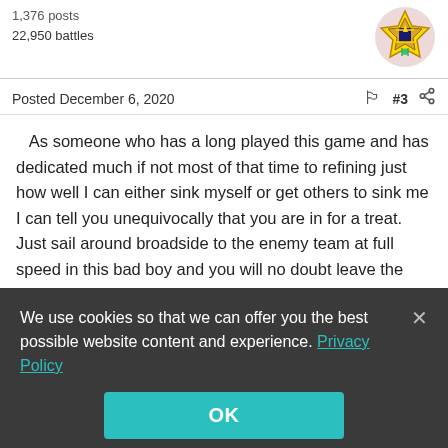1,376 posts
22,950 battles
Posted December 6, 2020  🏳 #3 ⋘
As someone who has a long played this game and has dedicated much if not most of that time to refining just how well I can either sink myself or get others to sink me I can tell you unequivocally that you are in for a treat. Just sail around broadside to the enemy team at full speed in this bad boy and you will no doubt leave the match as early as you like and likely tie some records for fastest time to lose all your HP in a ship.
We use cookies so that we can offer you the best possible website content and experience. Privacy Policy
OK